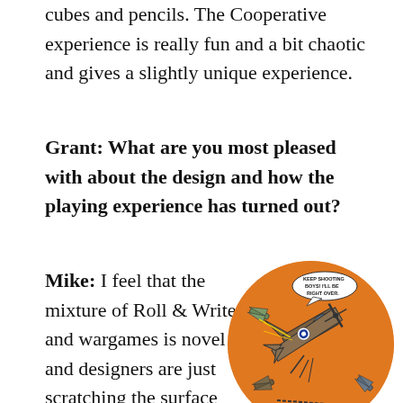cubes and pencils. The Cooperative experience is really fun and a bit chaotic and gives a slightly unique experience.
Grant: What are you most pleased with about the design and how the playing experience has turned out?
Mike: I feel that the mixture of Roll & Write and wargames is novel and designers are just scratching the surface here. There are potentially lots
[Figure (illustration): Circular comic-book style illustration on orange background showing WWII-era aircraft in a dogfight scene, with a speech bubble reading 'KEEP SHOOTING BOYS! I'LL BE RIGHT OVER.']